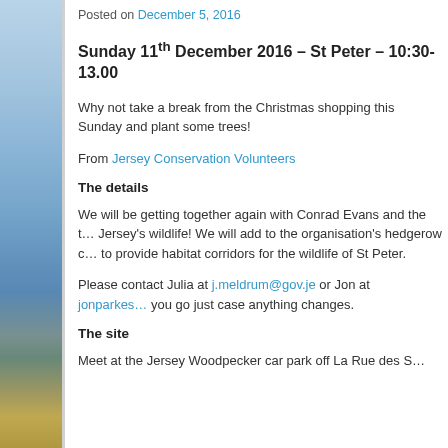[Figure (photo): Coastal landscape photo showing sea and rocky shore with vegetation, displayed as a vertical strip on the left side of the page]
Posted on December 5, 2016
Sunday 11th December 2016 – St Peter – 10:30-13.00
Why not take a break from the Christmas shopping this Sunday and plant some trees!
From Jersey Conservation Volunteers
The details
We will be getting together again with Conrad Evans and the team to benefit Jersey's wildlife!  We will add to the organisation's hedgerow corridor to provide habitat corridors for the wildlife of St Peter.
Please contact Julia at j.meldrum@gov.je or Jon at jonparkes… before you go just case anything changes.
The site
Meet at the Jersey Woodpecker car park off La Rue des S…